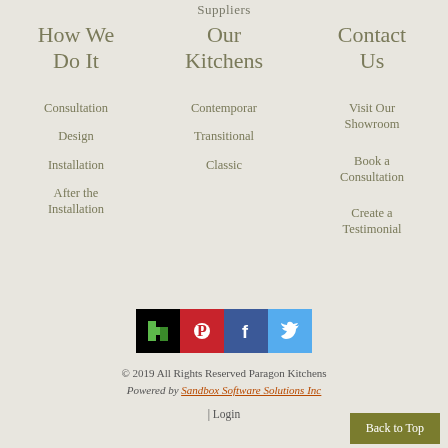Suppliers
How We Do It
Our Kitchens
Contact Us
Consultation
Contemporary
Visit Our Showroom
Design
Transitional
Book a Consultation
Installation
Classic
Create a Testimonial
After the Installation
[Figure (logo): Social media icons: Houzz (black), Pinterest (red), Facebook (blue), Twitter (light blue)]
© 2019 All Rights Reserved Paragon Kitchens
Powered by Sandbox Software Solutions Inc
| Login
Back to Top